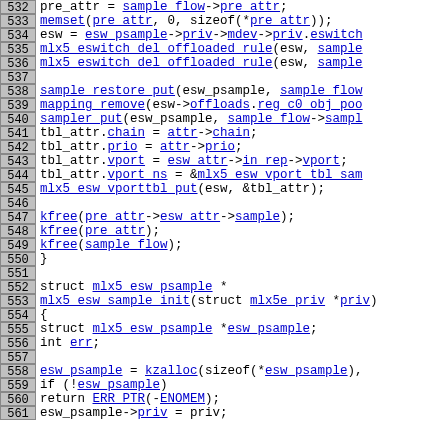[Figure (screenshot): Source code listing showing C code lines 532-561 with line numbers in gray boxes on the left, and hyperlinked identifiers in blue underline on the right. Code includes function calls like memset, mlx5_eswitch_del_offloaded_rule, sample_restore_put, mapping_remove, sampler_put, kfree, struct mlx5_esw_psample definition, and mlx5_esw_sample_init function.]